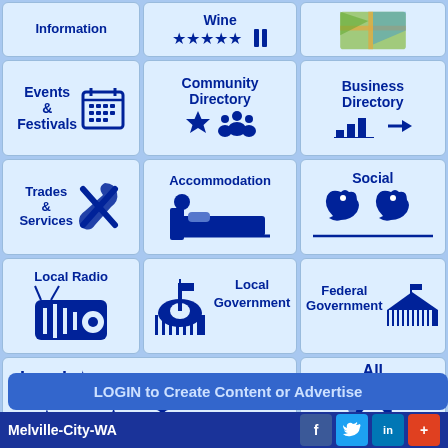[Figure (infographic): Grid of navigation tiles for Melville-City-WA website including Information, Wine, Map, Events & Festivals, Community Directory, Business Directory, Trades & Services, Accommodation, Social, Local Radio, Local Government, Federal Government, Local, All Directories, LOGIN button, and footer bar.]
Information
Wine
Events & Festivals
Community Directory
Business Directory
Trades & Services
Accommodation
Social
Local Radio
Local Government
Federal Government
Local
All Directories
LOGIN to Create Content or Advertise
Melville-City-WA